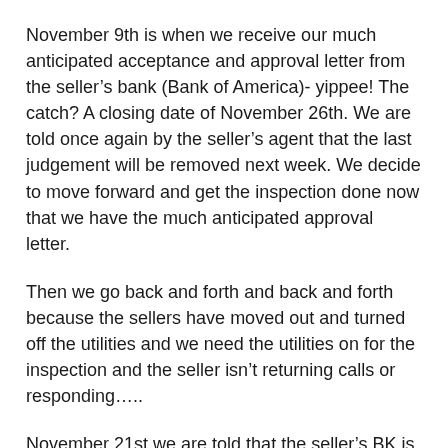November 9th is when we receive our much anticipated acceptance and approval letter from the seller’s bank (Bank of America)- yippee!  The catch?  A closing date of November 26th.  We are told once again by the seller’s agent that the last judgement will be removed next week.  We decide to move forward and get the inspection done now that we have the much anticipated approval letter.
Then we go back and forth and back and forth because the sellers have moved out and turned off the utilities and we need the utilities on for the inspection and the seller isn’t returning calls or responding…..
November 21st we are told that the seller’s BK is still